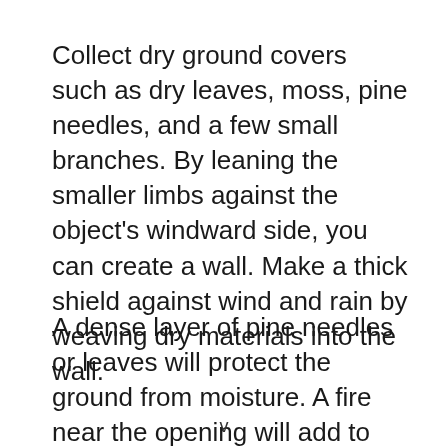Collect dry ground covers such as dry leaves, moss, pine needles, and a few small branches. By leaning the smaller limbs against the object's windward side, you can create a wall. Make a thick shield against wind and rain by weaving dry materials into the wall.
A dense layer of pine needles or leaves will protect the ground from moisture. A fire near the opening will add to the
v